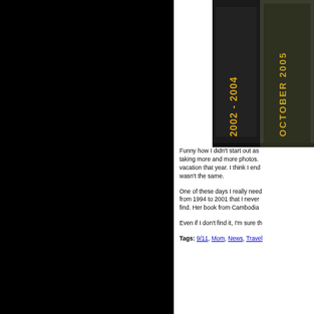[Figure (photo): Spines of two diary/album books on a dark shelf. Left spine reads '2002 - 2004' in gold text on black background. Right spine reads 'OCTOBER 2005' in gold text on dark green background.]
Funny how I didn't start out as taking more and more photos. vacation that year. I think I end wasn't the same.
One of these days I really need from 1994 to 2001 that I never find. Her book from Cambodia
Even if I don't find it, I'm sure th
Tags: 9/11, Mom, News, Travel